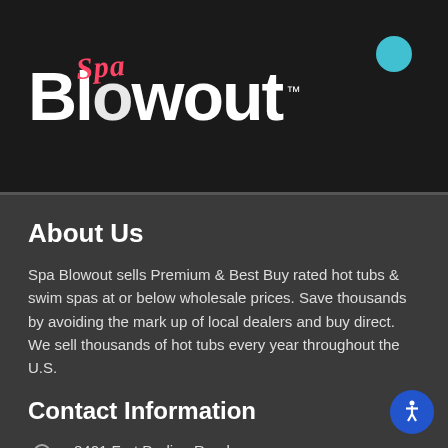Spa Blowout ™
About Us
Spa Blowout sells Premium & Best Buy rated hot tubs & swim spas at or below wholesale prices. Save thousands by avoiding the mark up of local dealers and buy direct. We sell thousands of hot tubs every year throughout the U.S.
Contact Information
8401 Fort Darling Road, Richmond, VA 23247 USA
(855) SPA-SALE